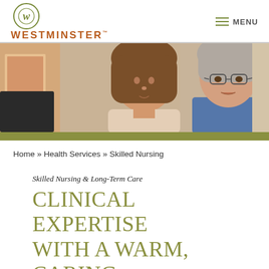[Figure (logo): Westminster logo with circular emblem and stylized W, brand name in orange/brown]
MENU
[Figure (photo): Two women, one younger with brown hair and one older with gray hair and glasses, looking at a computer screen in a healthcare setting]
Home » Health Services » Skilled Nursing
Skilled Nursing & Long-Term Care
Clinical expertise with a warm, caring heart.